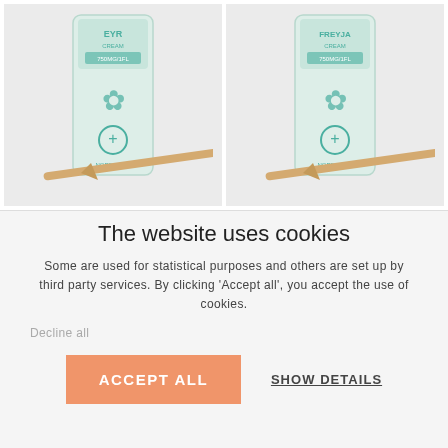[Figure (photo): Two product images side by side: EYR CREAM product from Nordic Oil with a wooden applicator stick, and FREYJA CREAM product from Nordic Oil with a wooden applicator stick. Both are white/light teal packets with cannabis leaf design.]
The website uses cookies
Some are used for statistical purposes and others are set up by third party services. By clicking ‘Accept all’, you accept the use of cookies.
Decline all
ACCEPT ALL
SHOW DETAILS